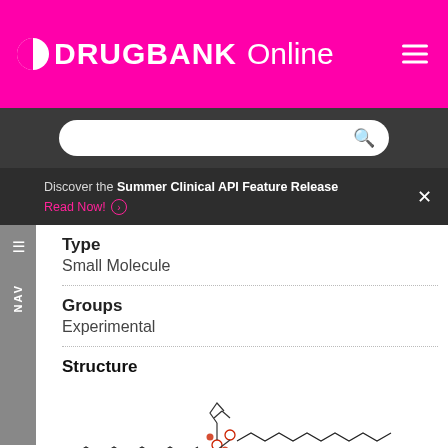DRUGBANK Online
Discover the Summer Clinical API Feature Release
Read Now!
Type
Small Molecule
Groups
Experimental
Structure
[Figure (illustration): Chemical structure diagram of a lipid/phospholipid small molecule with two long carbon chains and a central polar head group with oxygen atoms shown in red.]